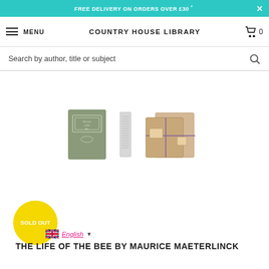FREE DELIVERY ON ORDERS OVER £30 *
MENU  COUNTRY HOUSE LIBRARY  0
Search by author, title or subject
[Figure (photo): Three product images: green cloth-bound book cover, book spine, and packaged books in brown paper tied with string]
SOLD OUT
English
THE LIFE OF THE BEE BY MAURICE MAETERLINCK